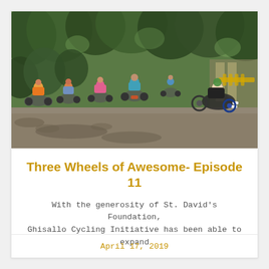[Figure (photo): Group of people riding adaptive tricycles (recumbent hand cycles) on a paved path through a park with trees in the background. Multiple riders wearing helmets are visible.]
Three Wheels of Awesome- Episode 11
With the generosity of St. David's Foundation, Ghisallo Cycling Initiative has been able to expand
April 17, 2019